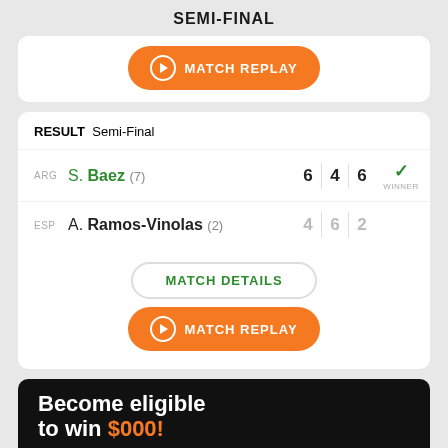SEMI-FINAL
[Figure (screenshot): Orange Match Replay button (partially visible, top card)]
RESULT  Semi-Final
ARG  S. Baez (7)  6 4 6  WINNER
ESP  A. Ramos-Vinolas (2)  4 6 2
MATCH DETAILS
MATCH REPLAY
Become eligible to win $000!